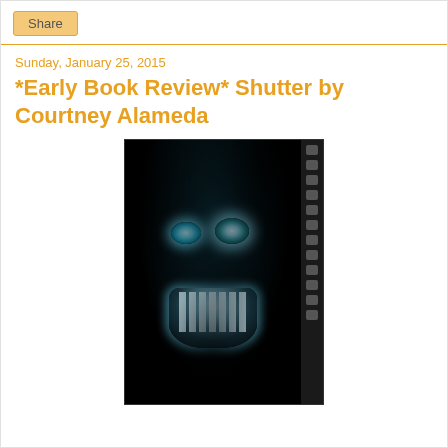Share
Sunday, January 25, 2015
*Early Book Review* Shutter by Courtney Alameda
[Figure (photo): Book cover image for 'Shutter' by Courtney Alameda. Shows a dark, ghostly face with glowing blue-white eyes and a wide open mouth with teeth, surrounded by dark wispy hair. A film strip border runs along the right edge of the image. The overall color palette is dark teal and black.]